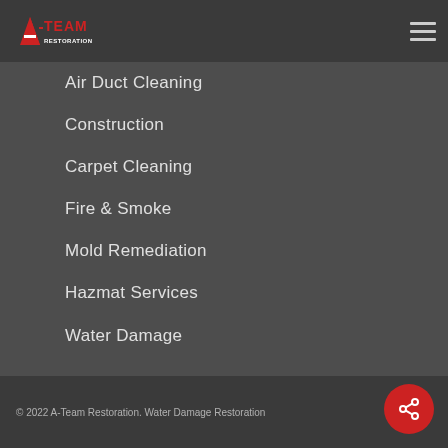[Figure (logo): A-Team Restoration logo with red and white text]
Air Duct Cleaning
Construction
Carpet Cleaning
Fire & Smoke
Mold Remediation
Hazmat Services
Water Damage
© 2022 A-Team Restoration. Water Damage Restoration